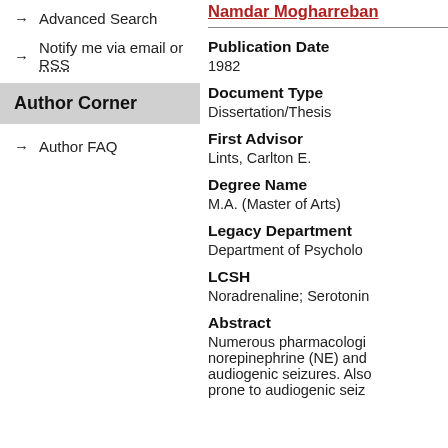→ Advanced Search
→ Notify me via email or RSS
Author Corner
→ Author FAQ
Namdar Mogharreban
Publication Date
1982
Document Type
Dissertation/Thesis
First Advisor
Lints, Carlton E.
Degree Name
M.A. (Master of Arts)
Legacy Department
Department of Psycholo...
LCSH
Noradrenaline; Serotonin...
Abstract
Numerous pharmacologi... norepinephrine (NE) and audiogenic seizures. Also prone to audiogenic seiz...